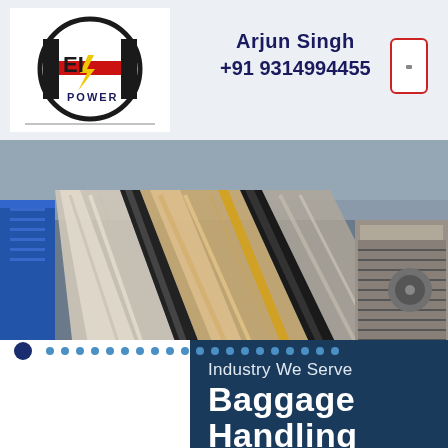[Figure (logo): HEI Power logo — stylized H with red horizontal bar, lightning bolt, text 'HEI' in bold black and 'POWER' below in dark blue]
Arjun Singh
+91 9314994455
[Figure (photo): Baggage handling conveyor belts moving luggage in an industrial airport facility, aerial/angled view showing multiple parallel belt lines]
Industry We Serve
Baggage
Handling